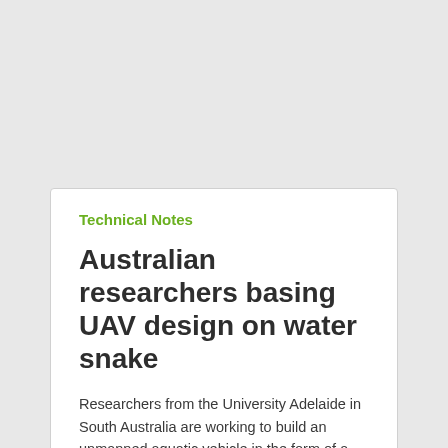Technical Notes
Australian researchers basing UAV design on water snake
Researchers from the University Adelaide in South Australia are working to build an unmanned aquatic vehicle in the form of a sea snake, according to a release from the university. Sea snakes evolved from